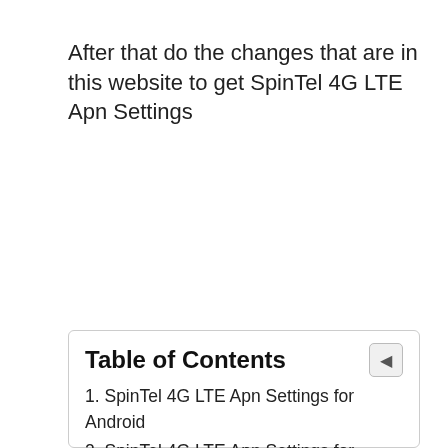After that do the changes that are in this website to get SpinTel 4G LTE Apn Settings
Table of Contents
1. SpinTel 4G LTE Apn Settings for Android
2. SpinTel 4G LTE Apn Settings for iPhone IOS
2.0.1. Cellular Data: